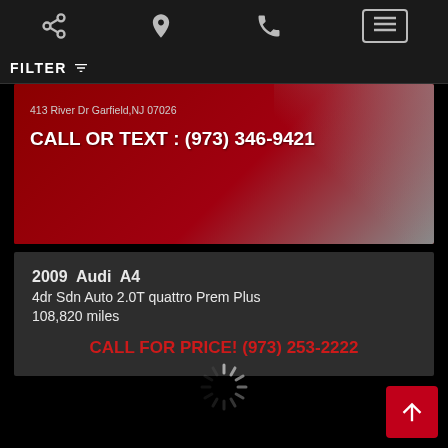Navigation bar with share, location, phone, and menu icons
FILTER
[Figure (screenshot): Dealer banner image with red background, address '413 River Dr Garfield,NJ 07026' and text 'CALL OR TEXT : (973) 346-9421']
2009  Audi  A4
4dr Sdn Auto 2.0T quattro Prem Plus
108,820 miles
CALL FOR PRICE! (973) 253-2222
[Figure (other): Loading spinner animation]
[Figure (other): Scroll to top red button with up arrow]